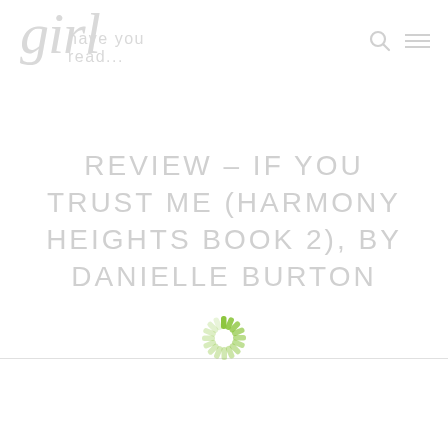girl | have you read...
REVIEW – IF YOU TRUST ME (HARMONY HEIGHTS BOOK 2), BY DANIELLE BURTON
[Figure (other): Animated loading spinner — circular arrangement of green rounded dashes radiating from a center point]